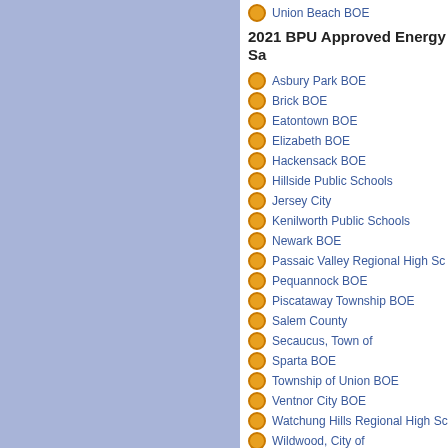Union Beach BOE
2021 BPU Approved Energy Sa...
Asbury Park BOE
Brick BOE
Eatontown BOE
Elizabeth BOE
Hackensack BOE
Hillside Public Schools
Jersey City
Kenilworth Public Schools
Newark BOE
Passaic Valley Regional High Sc...
Pequannock BOE
Piscataway Township BOE
Salem County
Secaucus, Town of
Sparta BOE
Township of Union BOE
Ventnor City BOE
Watchung Hills Regional High Sc...
Wildwood, City of
2020 BPU Approved Energy Sa...
Bogota BOE
Brick Township Municipal Utilities...